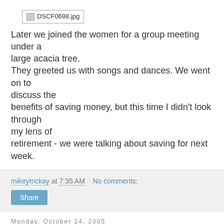[Figure (photo): Broken image placeholder labeled DSCF0698.jpg]
Later we joined the women for a group meeting under a large acacia tree.
They greeted us with songs and dances. We went on to discuss the
benefits of saving money, but this time I didn't look through my lens of
retirement - we were talking about saving for next week.
mikeymckay at 7:35 AM   No comments:
Share
Monday, October 24, 2005
Ethan Zuckerman at PopTech
Ethan Zuckerman is visiting PopTech and posting some really fascinating stuff on his blog. Ethan is a blogger, with a penchant for social networking (often via the blogosphere),